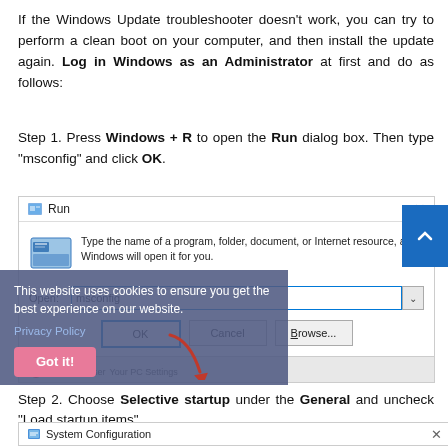If the Windows Update troubleshooter doesn't work, you can try to perform a clean boot on your computer, and then install the update again. Log in Windows as an Administrator at first and do as follows:
Step 1. Press Windows + R to open the Run dialog box. Then type “msconfig” and click OK.
[Figure (screenshot): Screenshot of the Windows Run dialog box with 'msconfig' typed in the Open field, showing OK, Cancel, and Browse buttons. A cookie consent overlay is partially visible over the dialog.]
Step 2. Choose Selective startup under the General and uncheck “Load startup items”.
[Figure (screenshot): System Configuration dialog title bar at bottom of page.]